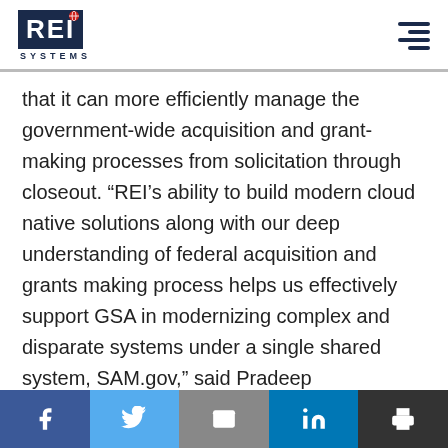REI SYSTEMS
that it can more efficiently manage the government-wide acquisition and grant-making processes from solicitation through closeout. “REI’s ability to build modern cloud native solutions along with our deep understanding of federal acquisition and grants making process helps us effectively support GSA in modernizing complex and disparate systems under a single shared system, SAM.gov,” said Pradeep Krishnanath, REI Systems’ Director, Federal Civilian.
f  twitter  mail  in  print